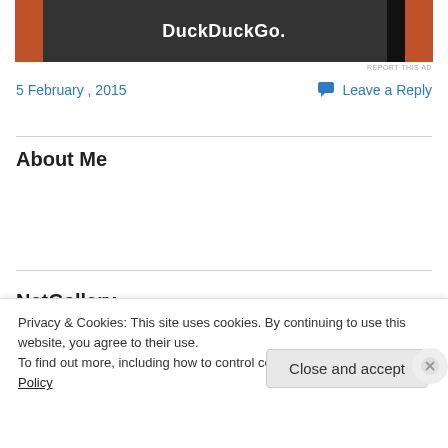[Figure (screenshot): DuckDuckGo advertisement banner with dark background and orange side bars]
REPORT THIS AD
5 February , 2015
Leave a Reply
About Me
About Me
Review Policy
NetGallery
Privacy & Cookies: This site uses cookies. By continuing to use this website, you agree to their use.
To find out more, including how to control cookies, see here: Cookie Policy
Close and accept